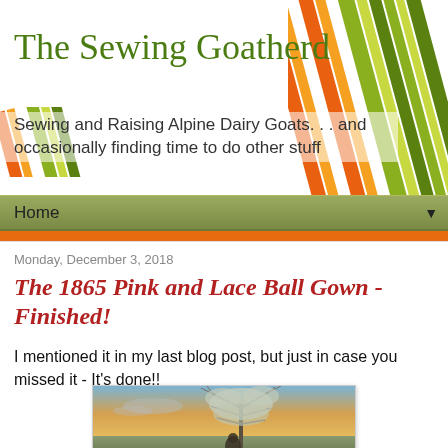The Sewing Goatherd
Sewing and Raising Alpine Dairy Goats. . . and occasionally finding time to do other stuff
Home
Monday, December 3, 2018
The 1865 Pink and Lace Ball Gown - Finished!
I mentioned it in my last blog post, but just in case you missed it - It's done!!
[Figure (photo): A person standing in front of a large tree at sunset, likely wearing a ball gown, outdoors in a field]